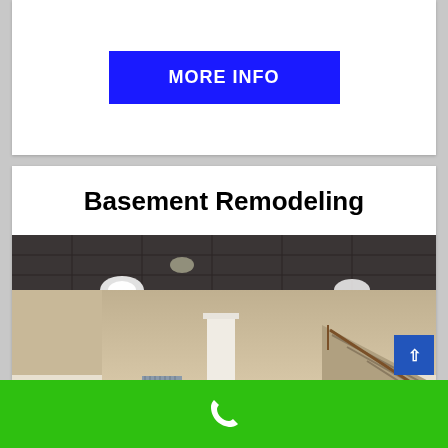MORE INFO
Basement Remodeling
[Figure (photo): Remodeled basement interior with drop ceiling, recessed lighting, white columns, wood laminate flooring, beige walls, staircase with railing, and wooden chair/table in foreground left]
^
[Figure (illustration): White phone handset icon on green bar at bottom of page]